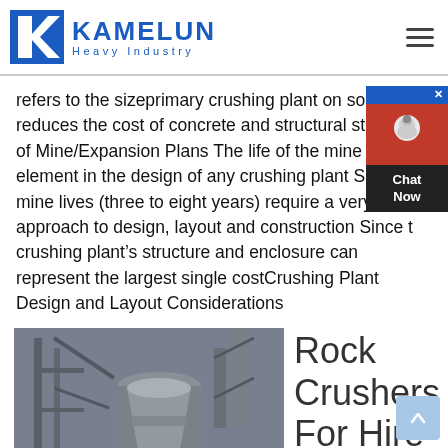KAMELUN Heavy Industry
refers to the sizeprimary crushing plant on solid rock reduces the cost of concrete and structural steel Life of Mine/Expansion Plans The life of the mine is a key element in the design of any crushing plant Shortte mine lives (three to eight years) require a very caref approach to design, layout and construction Since t crushing plant’s structure and enclosure can represent the largest single costCrushing Plant Design and Layout Considerations
[Figure (photo): Industrial rock crusher machinery in a facility, showing large cylindrical cone crusher with motor at base, surrounded by structural steel framework.]
Rock Crushers For Hire